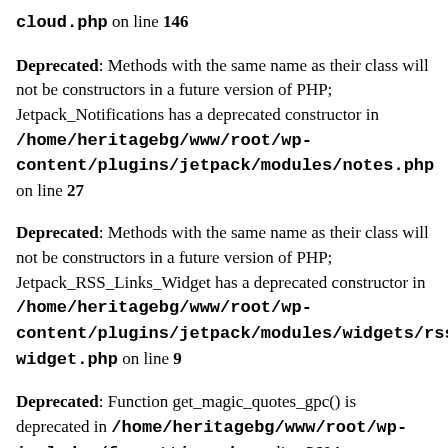cloud.php on line 146
Deprecated: Methods with the same name as their class will not be constructors in a future version of PHP; Jetpack_Notifications has a deprecated constructor in /home/heritagebg/www/root/wp-content/plugins/jetpack/modules/notes.php on line 27
Deprecated: Methods with the same name as their class will not be constructors in a future version of PHP; Jetpack_RSS_Links_Widget has a deprecated constructor in /home/heritagebg/www/root/wp-content/plugins/jetpack/modules/widgets/rsslinks-widget.php on line 9
Deprecated: Function get_magic_quotes_gpc() is deprecated in /home/heritagebg/www/root/wp-includes/formatting.php on line 3604